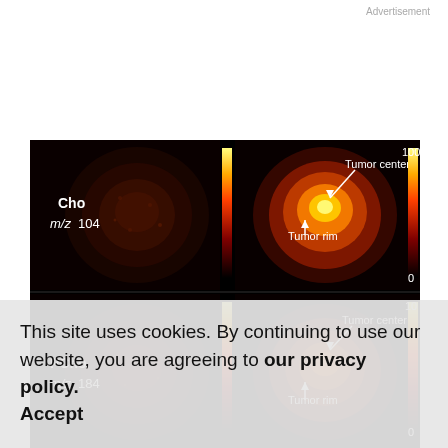Advertisement
[Figure (other): Mass spectrometry imaging of tumor tissue showing Cho m/z 104 and PCho m/z 184 ion maps. Four panels arranged in a 2x2 grid on black background. Top-left: Cho m/z 104 grayscale/dark red ion image. Top-right: Cho m/z 104 color-mapped image with color scale 0-100, showing Tumor center (arrow down) and Tumor rim (arrow up) annotations. Bottom-left: PCho m/z 184 dark red ion image. Bottom-right: PCho m/z 184 color-mapped image with color scale 0-10, showing Tumor center (arrow down) and Tumor rim (arrow up) annotations.]
This site uses cookies. By continuing to use our website, you are agreeing to our privacy policy. Accept